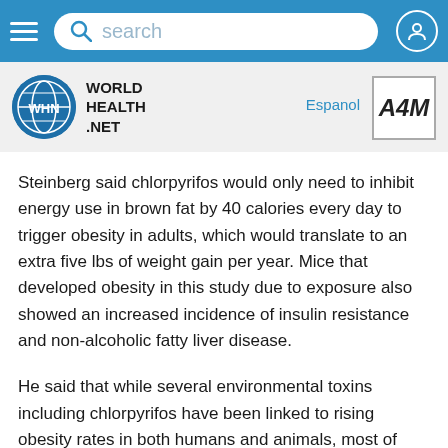[Figure (screenshot): Mobile website navigation bar with hamburger menu, search bar, and user icon on blue background]
[Figure (logo): World Health Net (WHN) logo with circular globe icon, Espanol link, and A4M logo badge]
Steinberg said chlorpyrifos would only need to inhibit energy use in brown fat by 40 calories every day to trigger obesity in adults, which would translate to an extra five lbs of weight gain per year. Mice that developed obesity in this study due to exposure also showed an increased incidence of insulin resistance and non-alcoholic fatty liver disease.
He said that while several environmental toxins including chlorpyrifos have been linked to rising obesity rates in both humans and animals, most of these studies have attributed the weight gain to increases in food intake and not the burning of calories.